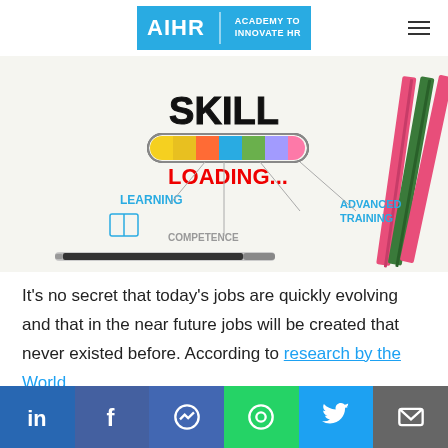[Figure (logo): AIHR Academy to Innovate HR logo in blue]
[Figure (photo): Skill loading concept image with pencils, showing LEARNING, COMPETENCE, KNOWLEDGE, ADVANCED TRAINING text around a loading bar]
It's no secret that today's jobs are quickly evolving and that in the near future jobs will be created that never existed before. According to research by the World
[Figure (infographic): Social share bar with LinkedIn, Facebook, Messenger, WhatsApp, Twitter, and Email buttons]